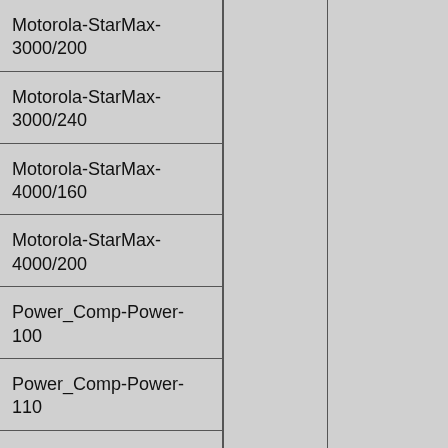|  |  |  |
| --- | --- | --- |
| Motorola-StarMax-3000/200 |  |  |
| Motorola-StarMax-3000/240 |  |  |
| Motorola-StarMax-4000/160 |  |  |
| Motorola-StarMax-4000/200 |  |  |
| Power_Comp-Power-100 |  |  |
| Power_Comp-Power-110 |  |  |
| Power_Comp-Power-120 |  |  |
| Power_Comp-Power-80 |  |  |
| Power_Comp-PowerBase-180 |  |  |
| Power_Comp-PowerBase-200 |  |  |
| Power_Comp-PowerBase-240 |  |  |
| Power_Comp-PowerCenter-120 |  |  |
| Power_Comp-PowerCenter-132 |  |  |